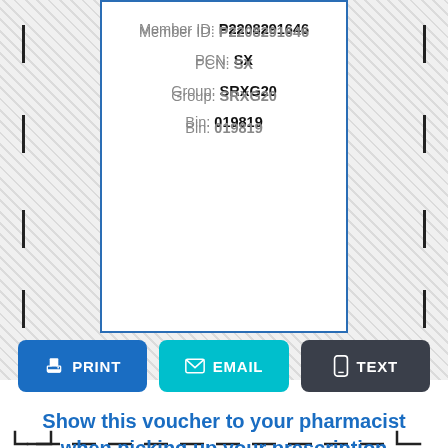Member ID: P2208291646
PCN: SX
Group: SRXG20
Bin: 019819
[Figure (infographic): Insurance card voucher with Member ID P2208291646, PCN SX, Group SRXG20, Bin 019819 inside a white box with blue border, surrounded by a hatched background with dashed cut marks]
PRINT  EMAIL  TEXT
Show this voucher to your pharmacist when picking up your prescription